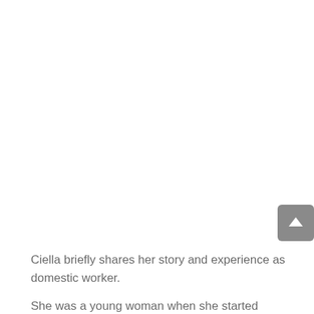Ciella briefly shares her story and experience as domestic worker.
She was a young woman when she started working